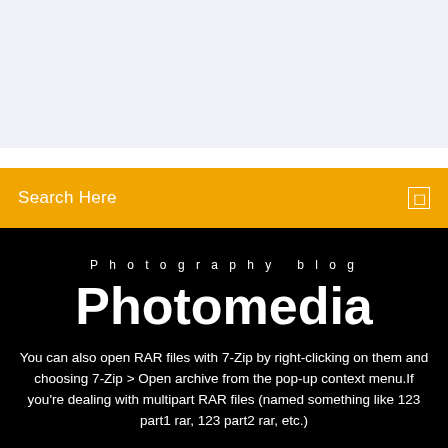[Figure (screenshot): Top section with light lavender/grey background, partial website header area]
Search Here
Photography blog
Photomedia
You can also open RAR files with 7-Zip by right-clicking on them and choosing 7-Zip > Open archive from the pop-up context menu.If you're dealing with multipart RAR files (named something like 123 part1 rar, 123 part2 rar, etc.)